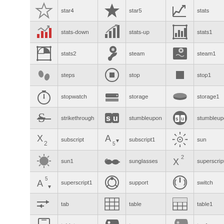| icon | name | icon | name | icon | name |
| --- | --- | --- | --- | --- | --- |
| star4-icon | star4 | star5-icon | star5 | stats-icon | stats |
| stats-down-icon | stats-down | stats-up-icon | stats-up | stats1-icon | stats1 |
| stats2-icon | stats2 | steam-icon | steam | steam1-icon | steam1 |
| steps-icon | steps | stop-icon | stop | stop1-icon | stop1 |
| stopwatch-icon | stopwatch | storage-icon | storage | storage1-icon | storage1 |
| strikethrough-icon | strikethrough | stumbleupon-icon | stumbleupon | stumbleupon1-icon | stumbleupon1 |
| subscript-icon | subscript | subscript1-icon | subscript1 | sun-icon | sun |
| sun1-icon | sun1 | sunglasses-icon | sunglasses | superscript-icon | superscript |
| superscript1-icon | superscript1 | support-icon | support | switch-icon | switch |
| tab-icon | tab | table-icon | table | table1-icon | table1 |
| tablet-icon | tablet | tag-icon | tag | tag1-icon | tag1 |